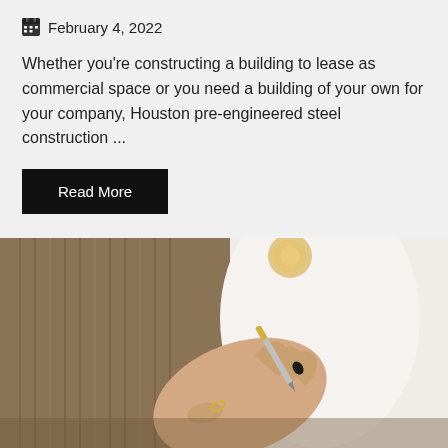February 4, 2022
Whether you're constructing a building to lease as commercial space or you need a building of your own for your company, Houston pre-engineered steel construction ...
Read More
[Figure (photo): Close-up photo of a person's hand holding a pen, wearing a brown ribbed sweater, writing. A golden/blurred object visible in the background against a white fabric background.]